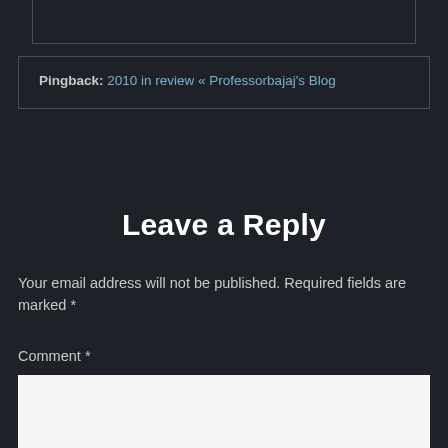Pingback: 2010 in review « Professorbajaj's Blog
Leave a Reply
Your email address will not be published. Required fields are marked *
Comment *